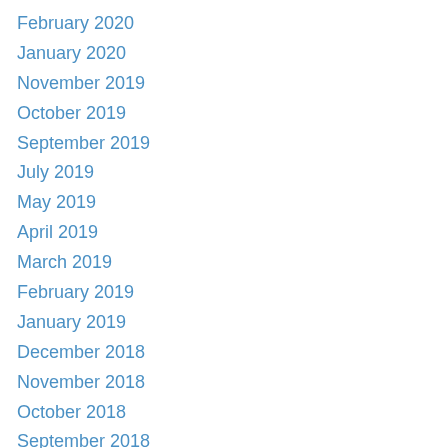February 2020
January 2020
November 2019
October 2019
September 2019
July 2019
May 2019
April 2019
March 2019
February 2019
January 2019
December 2018
November 2018
October 2018
September 2018
August 2018
July 2018
June 2018
May 2018
April 2018